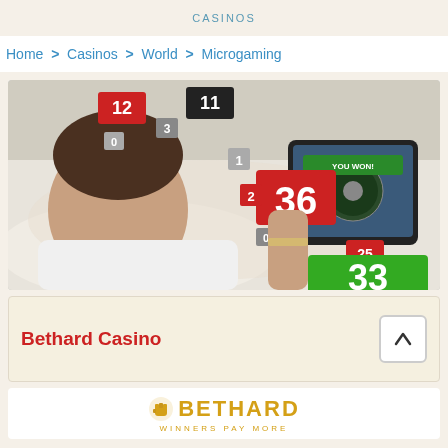CASINOS
Home > Casinos > World > Microgaming
[Figure (photo): Woman lying on a sofa smiling, holding a tablet showing a roulette game with 'YOU WON!' message. Floating casino number tiles visible: 12, 11, 3, 1, 2, 36, 25, 33.]
Bethard Casino
[Figure (logo): Bethard logo with fist icon, text 'BETHARD' in gold/yellow, subtext 'WINNERS PAY MORE']